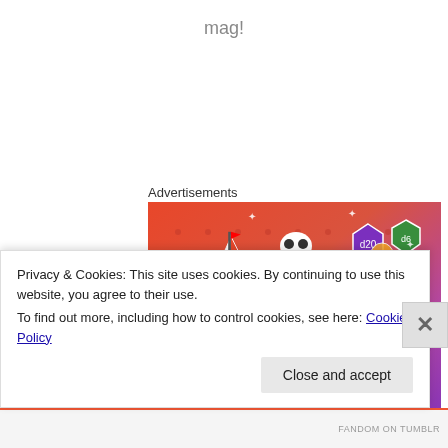mag!
Advertisements
[Figure (illustration): Fandom on Tumblr advertisement banner with colorful gradient background (orange to purple), featuring decorative doodles (skull, sailboat, music notes, dice, arrows, hearts) and bold text reading FANDOM ON tumblr]
Privacy & Cookies: This site uses cookies. By continuing to use this website, you agree to their use.
To find out more, including how to control cookies, see here: Cookie Policy
Close and accept